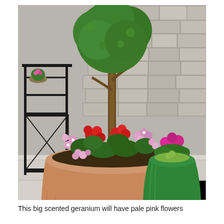[Figure (photo): A large terracotta urn planter filled with a tall olive or boxwood topiary tree and colorful flowers including red and pink-white geraniums, set on a stone patio. Behind it is a green glazed ceramic pot with pink flowers. A black lantern/shelving unit is visible on the left. A stone/brick wall is in the background. Soil spilled on the patio floor in the foreground.]
This big scented geranium will have pale pink flowers